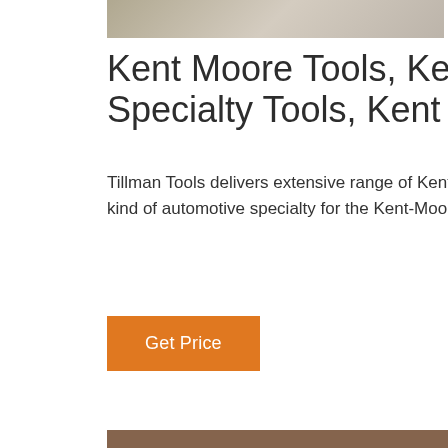[Figure (photo): Top banner image strip showing a blurred surface background]
Kent Moore Tools, Kent Moore Specialty Tools, Kent
Tillman Tools delivers extensive range of Kent Moore Tools. Buy all kind of automotive specialty for the Kent-Moore Tools at best price.
Get Price
[Figure (infographic): 24/7 Online chat widget with dark blue background, woman with headset photo, 'Click here for free chat!' text, and orange QUOTATION button]
[Figure (photo): Close-up photo of dark metal automotive tool component with red background, with orange TOP watermark in bottom right]